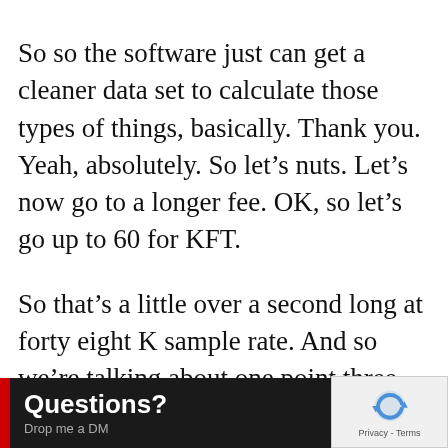So so the software just can get a cleaner data set to calculate those types of things, basically. Thank you. Yeah, absolutely. So let’s nuts. Let’s now go to a longer fee. OK, so let’s go up to 60 for KFT.
So that’s a little over a second long at forty eight K sample rate. And so we’re talking about one point three seconds it averages. So now we’re talking about nine or 10 seconds to measurement, but you’ it’s going to lower that,
[Figure (other): Black overlay banner at bottom left reading 'Questions? Drop me a DM' with a red vertical bar on the left side]
[Figure (other): reCAPTCHA logo box at bottom right corner with Privacy - Terms text]